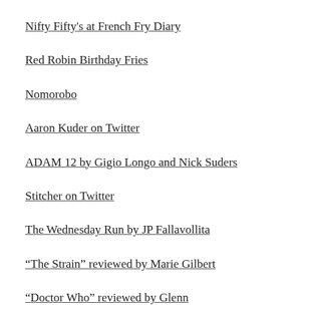Nifty Fifty's at French Fry Diary
Red Robin Birthday Fries
Nomorobo
Aaron Kuder on Twitter
ADAM 12 by Gigio Longo and Nick Suders
Stitcher on Twitter
The Wednesday Run by JP Fallavollita
“The Strain” reviewed by Marie Gilbert
“Doctor Who” reviewed by Glenn